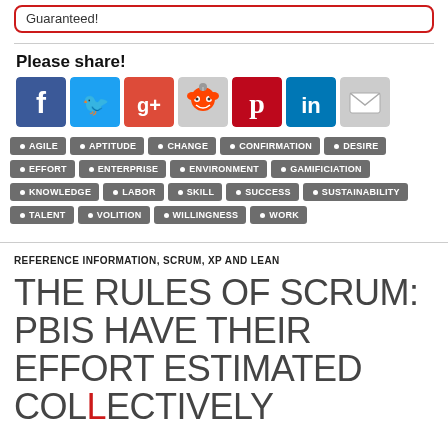Guaranteed!
Please share!
[Figure (illustration): Social sharing icons: Facebook, Twitter, Google+, Reddit, Pinterest, LinkedIn, Email]
AGILE
APTITUDE
CHANGE
CONFIRMATION
DESIRE
EFFORT
ENTERPRISE
ENVIRONMENT
GAMIFICIATION
KNOWLEDGE
LABOR
SKILL
SUCCESS
SUSTAINABILITY
TALENT
VOLITION
WILLINGNESS
WORK
REFERENCE INFORMATION, SCRUM, XP AND LEAN
THE RULES OF SCRUM: PBIS HAVE THEIR EFFORT ESTIMATED COLLECTIVELY